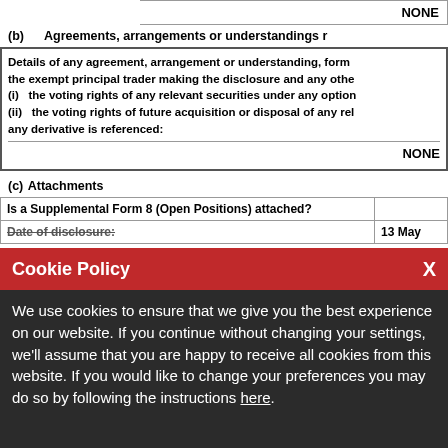| NONE |
(b) Agreements, arrangements or understandings r
| Details of any agreement, arrangement or understanding, form the exempt principal trader making the disclosure and any othe (i) the voting rights of any relevant securities under any option (ii) the voting rights of future acquisition or disposal of any rel any derivative is referenced: |
| NONE |
(c) Attachments
| Is a Supplemental Form 8 (Open Positions) attached? |  |
| --- | --- |
| Date of disclosure: | 13 May |
Cookie Policy
We use cookies to ensure that we give you the best experience on our website. If you continue without changing your settings, we'll assume that you are happy to receive all cookies from this website. If you would like to change your preferences you may do so by following the instructions here.